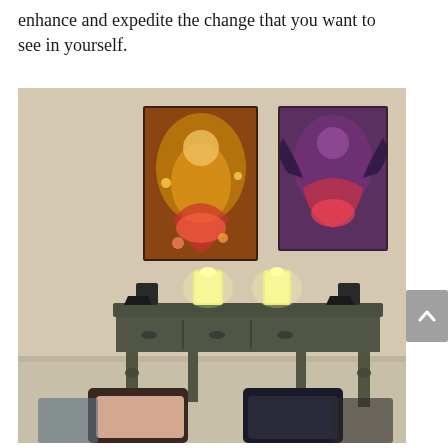enhance and expedite the change that you want to see in yourself.
[Figure (photo): Interior room photo showing a dark grey console table with two lit candles in glass holders and two black candle holders on the sides. Above the table on a beige wall hang two fantasy-style art prints depicting dancing figures. In front of the table on the floor are cushions and pillows arranged as seating.]